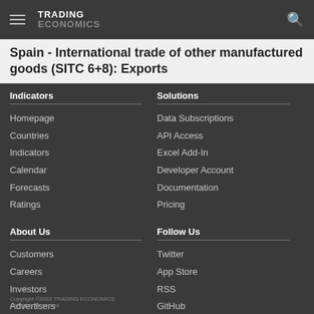TRADING ECONOMICS
Spain - International trade of other manufactured goods (SITC 6+8): Exports
Indicators
Homepage
Countries
Indicators
Calendar
Forecasts
Ratings
Solutions
Data Subscriptions
API Access
Excel Add-In
Developer Account
Documentation
Pricing
About Us
Customers
Careers
Investors
Advertisers
About us
Follow Us
Twitter
App Store
RSS
GitHub
Privacy
Copyright ©2022 TRADING ECONOMICS
All Rights Reserved